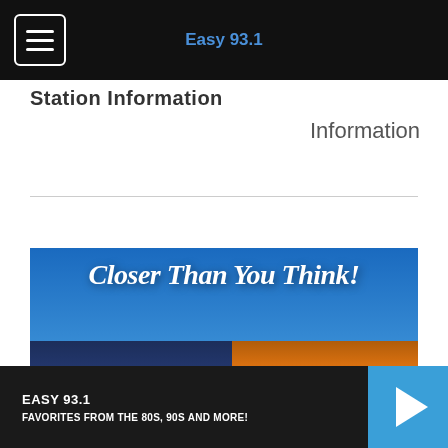Easy 93.1 — navigation bar with hamburger menu and logo
Station Information
Information
[Figure (photo): Promotional advertisement image for Dana Beach venue. Blue sky background with large cursive white text reading 'Closer Than You Think!' and a modern building lit with orange/amber lights at the bottom. The Dana Beach logo is visible on the building facade.]
EASY 93.1 — FAVORITES FROM THE 80S, 90S AND MORE!